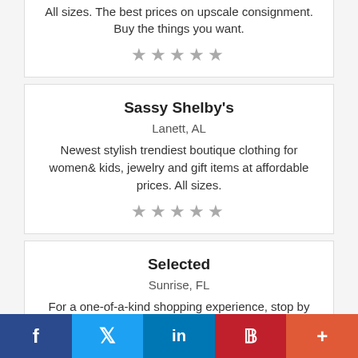All sizes. The best prices on upscale consignment. Buy the things you want.
★★★★★
Sassy Shelby's
Lanett, AL
Newest stylish trendiest boutique clothing for women& kids, jewelry and gift items at affordable prices. All sizes.
★★★★★
Selected
Sunrise, FL
For a one-of-a-kind shopping experience, stop by SELECTED.
★★★★★
f  twitter  in  P  +